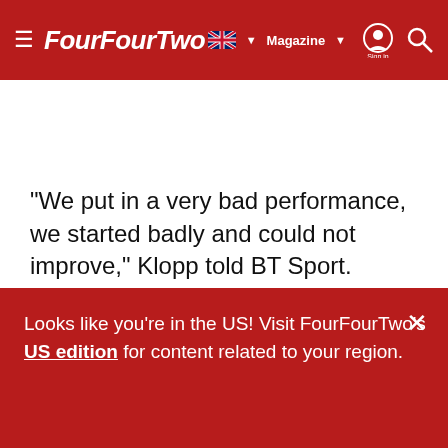FourFourTwo — Magazine navigation bar
"We put in a very bad performance, we started badly and could not improve," Klopp told BT Sport.
Looks like you're in the US! Visit FourFourTwo's US edition for content related to your region.